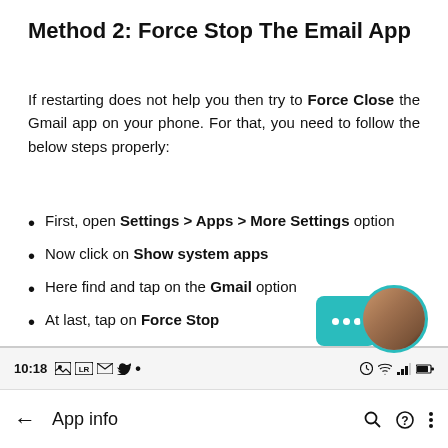Method 2: Force Stop The Email App
If restarting does not help you then try to Force Close the Gmail app on your phone. For that, you need to follow the below steps properly:
First, open Settings > Apps > More Settings option
Now click on Show system apps
Here find and tap on the Gmail option
At last, tap on Force Stop
[Figure (screenshot): Android App info screen screenshot showing status bar with 10:18 time and system icons, and app bar with back arrow and 'App info' title]